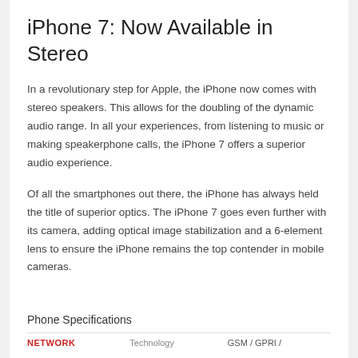iPhone 7: Now Available in Stereo
In a revolutionary step for Apple, the iPhone now comes with stereo speakers. This allows for the doubling of the dynamic audio range. In all your experiences, from listening to music or making speakerphone calls, the iPhone 7 offers a superior audio experience.
Of all the smartphones out there, the iPhone has always held the title of superior optics. The iPhone 7 goes even further with its camera, adding optical image stabilization and a 6-element lens to ensure the iPhone remains the top contender in mobile cameras.
Phone Specifications
| NETWORK | Technology | GSM / GPRS /… |
| --- | --- | --- |